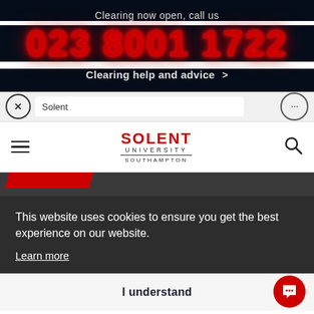Clearing now open, call us
023 8001 1722
Clearing help and advice >
[Figure (screenshot): Browser navigation bar with close (X) button, URL bar showing 'Solent', and more options (...) button]
[Figure (logo): Solent University Southampton logo with hamburger menu and search icon]
[Figure (other): Red diagonal accent strip on dark grey background]
This website uses cookies to ensure you get the best experience on our website.
Learn more
I understand